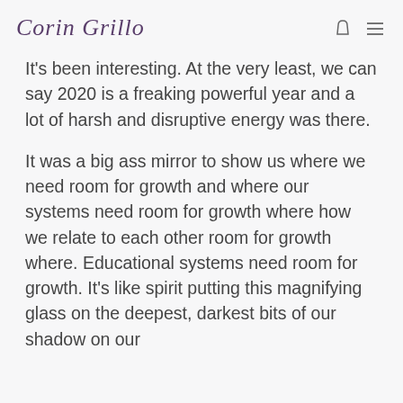Corin Grillo
It's been interesting. At the very least, we can say 2020 is a freaking powerful year and a lot of harsh and disruptive energy was there.
It was a big ass mirror to show us where we need room for growth and where our systems need room for growth where how we relate to each other room for growth where. Educational systems need room for growth. It's like spirit putting this magnifying glass on the deepest, darkest bits of our shadow on our